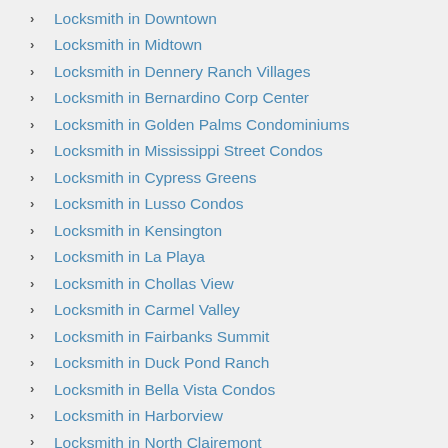Locksmith in Downtown
Locksmith in Midtown
Locksmith in Dennery Ranch Villages
Locksmith in Bernardino Corp Center
Locksmith in Golden Palms Condominiums
Locksmith in Mississippi Street Condos
Locksmith in Cypress Greens
Locksmith in Lusso Condos
Locksmith in Kensington
Locksmith in La Playa
Locksmith in Chollas View
Locksmith in Carmel Valley
Locksmith in Fairbanks Summit
Locksmith in Duck Pond Ranch
Locksmith in Bella Vista Condos
Locksmith in Harborview
Locksmith in North Clairemont
Locksmith in Fairmont Village
Locksmith in Cityscape
Locksmith in Bay Terraces
Locksmith in Ocean Crest
Locksmith in Old Town
Locksmith in Darnall
Locksmith in City View Condominiums